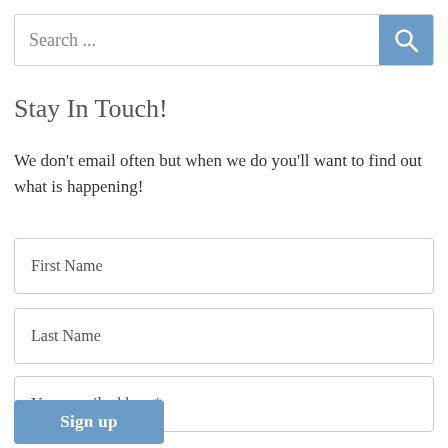Search ...
Stay In Touch!
We don't email often but when we do you'll want to find out what is happening!
First Name
Last Name
Your email address*
Sign up